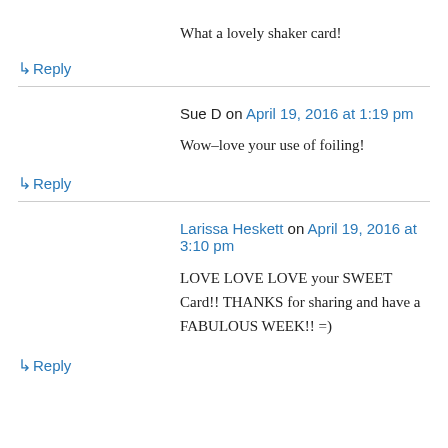What a lovely shaker card!
↳ Reply
Sue D on April 19, 2016 at 1:19 pm
Wow–love your use of foiling!
↳ Reply
Larissa Heskett on April 19, 2016 at 3:10 pm
LOVE LOVE LOVE your SWEET Card!! THANKS for sharing and have a FABULOUS WEEK!! =)
↳ Reply